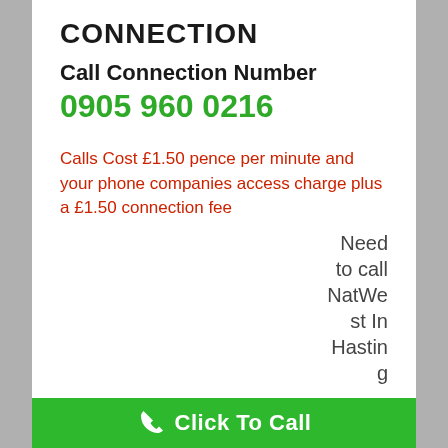CONNECTION
Call Connection Number
0905 960 0216
Calls Cost £1.50 pence per minute and your phone companies access charge plus a £1.50 connection fee
Need to call NatWest In Hastin g...
Click To Call